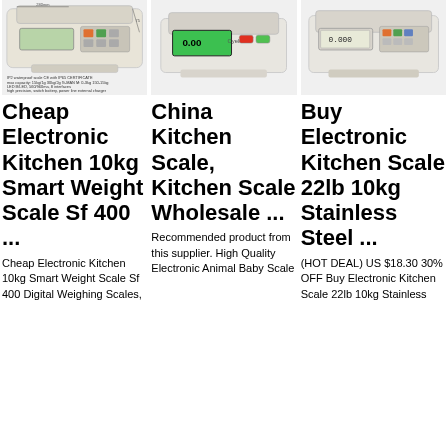[Figure (photo): Kitchen scale product image with text specifications showing weight capacity and LED display info]
Cheap Electronic Kitchen 10kg Smart Weight Scale Sf 400 ...
Cheap Electronic Kitchen 10kg Smart Weight Scale Sf 400 Digital Weighing Scales,
[Figure (photo): China kitchen scale with green LCD display on white background]
China Kitchen Scale, Kitchen Scale Wholesale ...
Recommended product from this supplier. High Quality Electronic Animal Baby Scale
[Figure (photo): Electronic kitchen scale with keypad and display unit]
Buy Electronic Kitchen Scale 22lb 10kg Stainless Steel ...
(HOT DEAL) US $18.30 30% OFF Buy Electronic Kitchen Scale 22lb 10kg Stainless